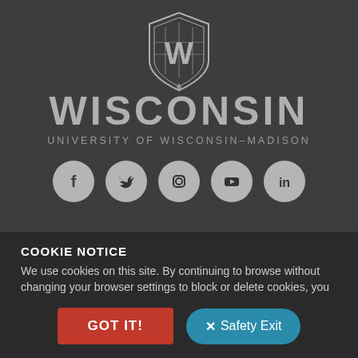[Figure (logo): University of Wisconsin-Madison logo with W crest, WISCONSIN text, and social media icons (Facebook, Twitter, Instagram, YouTube, LinkedIn)]
COOKIE NOTICE
We use cookies on this site. By continuing to browse without changing your browser settings to block or delete cookies, you agree to the UW–Madison Privacy Notice.
GOT IT!
✕ Safety Exit